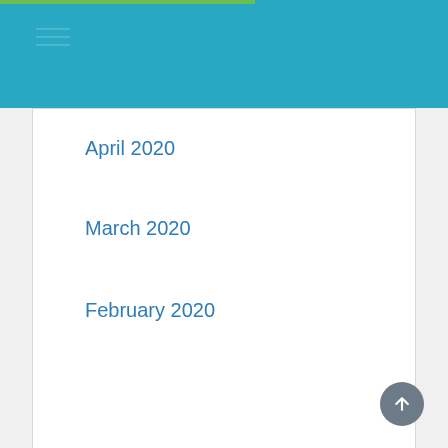April 2020
March 2020
February 2020
Categories
Digital Marketing
Featured
Gadget
Graphic